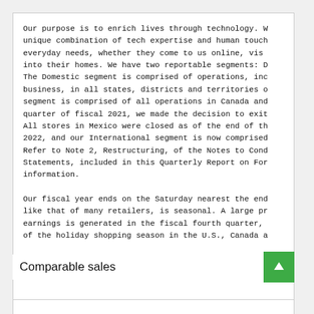Our purpose is to enrich lives through technology. W unique combination of tech expertise and human touch everyday needs, whether they come to us online, vis into their homes. We have two reportable segments: D The Domestic segment is comprised of operations, inc business, in all states, districts and territories o segment is comprised of all operations in Canada and quarter of fiscal 2021, we made the decision to exit All stores in Mexico were closed as of the end of the 2022, and our International segment is now comprised Refer to Note 2, Restructuring, of the Notes to Cond Statements, included in this Quarterly Report on For information.

Our fiscal year ends on the Saturday nearest the end like that of many retailers, is seasonal. A large pr earnings is generated in the fiscal fourth quarter, of the holiday shopping season in the U.S., Canada a
Comparable sales